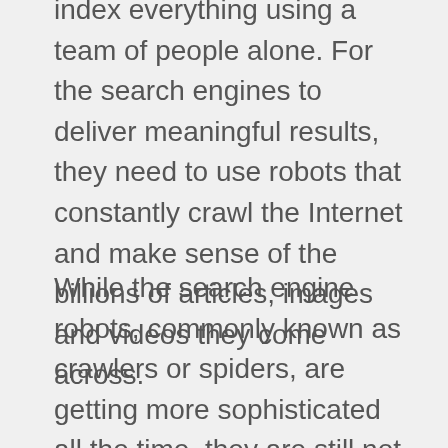index everything using a team of people alone. For the search engines to deliver meaningful results, they need to use robots that constantly crawl the Internet and make sense of the billions of articles, images and videos they come across.
While the search engine robots, commonly known as crawlers or spiders, are getting more sophisticated all the time, they are still not as efficient or discerning as people. Consider, for example, how Google's crawlers are supposed to